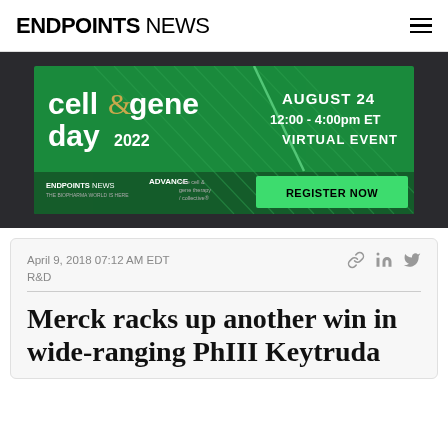ENDPOINTS NEWS
[Figure (advertisement): Cell & Gene Day 2022 virtual event advertisement banner. Green background with diagonal line design. Text: 'cell & gene day 2022', 'AUGUST 24', '12:00 - 4:00pm ET', 'VIRTUAL EVENT'. Bottom row: ENDPOINTS NEWS logo, ADVANCE logo, 'REGISTER NOW' button in bright green.]
April 9, 2018 07:12 AM EDT
R&D
Merck racks up another win in wide-ranging PhIII Keytruda